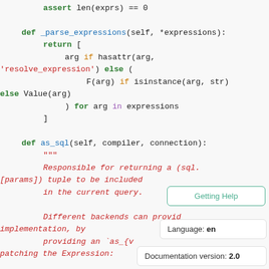Code snippet showing Python class methods: _parse_expressions and as_sql with docstring. Overlaid with Getting Help panel, Language: en, and Documentation version: 2.0 panels.
[Figure (screenshot): Python source code on light gray background showing assert statement, def _parse_expressions method with return list comprehension using hasattr, F(), Value(), and def as_sql method with docstring about returning (sql, [params]) tuple. Overlaid UI panels: Getting Help, Language: en, Documentation version: 2.0.]